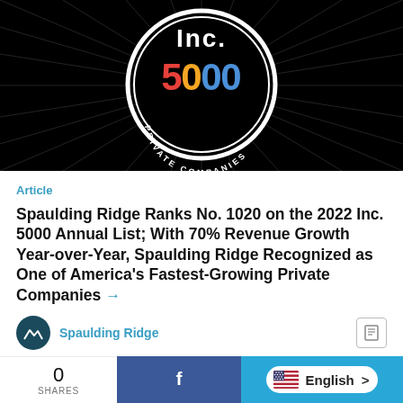[Figure (logo): Inc. 5000 Private Companies badge/logo on black background with radiating lines]
Article
Spaulding Ridge Ranks No. 1020 on the 2022 Inc. 5000 Annual List; With 70% Revenue Growth Year-over-Year, Spaulding Ridge Recognized as One of America's Fastest-Growing Private Companies →
Spaulding Ridge
0 SHARES  f  English >